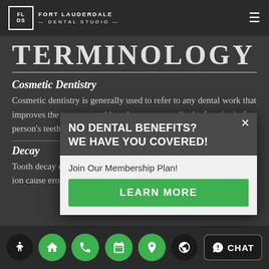FORT LAUDERDALE DENTAL STUDIO
TERMINOLOGY
Cosmetic Dentistry
Cosmetic dentistry is generally used to refer to any dental work that improves the appearance (though not necessarily the function) of a person's teeth, gums and possible bite.
Decay
Tooth decay occurs when the surface of the tooth begins to decay, ion cause erosion from plaque and tartar on the
[Figure (screenshot): Popup advertisement: 'NO DENTAL BENEFITS? WE HAVE YOU COVERED!' with 'Join Our Membership Plan!' subtext and a green LEARN MORE button, with an X close button]
Home | Phone | Calendar | Location | CHAT